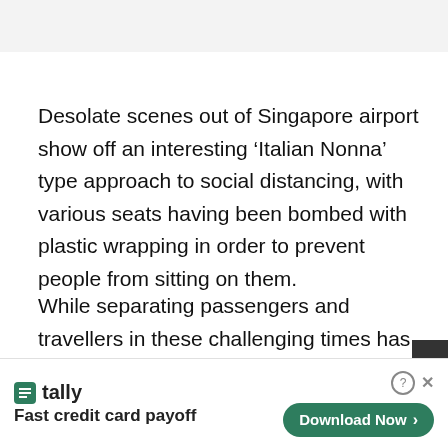Desolate scenes out of Singapore airport show off an interesting ‘Italian Nonna’ type approach to social distancing, with various seats having been bombed with plastic wrapping in order to prevent people from sitting on them.
While separating passengers and travellers in these challenging times has been the norm for a while now, most airports we’ve seen around the world have used signs and stickers to indicate where you can si...
[Figure (other): Advertisement banner for Tally app: 'Fast credit card payoff' with a green Download Now button]